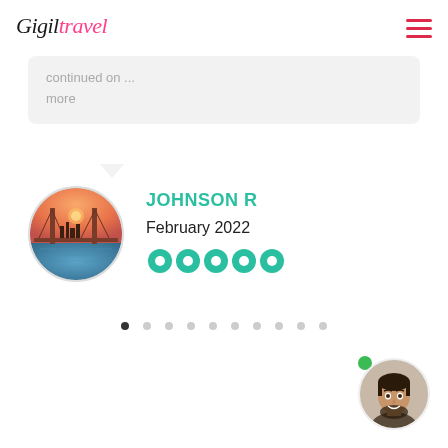Gigil travel (logo) + hamburger menu
continued on ...
more
JOHNSON R
February 2022
5-circle rating
[Figure (photo): Circular profile photo of the Golden Gate / Bay Bridge at sunset]
[Figure (photo): Small circular avatar of a smiling bearded man in bottom-right corner with green online dot]